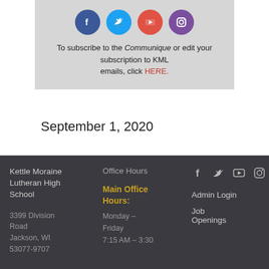[Figure (other): Social media icons: Facebook (blue), Twitter (light blue), YouTube (red), Instagram (purple), displayed in a gray box]
To subscribe to the Communique or edit your subscription to KML emails, click HERE.
September 1, 2020
Kettle Moraine Lutheran High School
3399 Division Road Jackson, WI 53037-9707
Office Hours
Main Office Hours: Monday – Friday 7:15 AM – 3:30
[Figure (other): Footer social media icons: Facebook, Twitter, YouTube, Instagram (outline style, gray)]
Admin Login
Job Openings